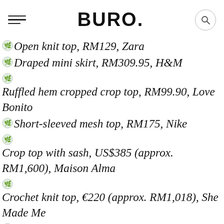BURO.
Open knit top, RM129, Zara
Draped mini skirt, RM309.95, H&M
Ruffled hem cropped crop top, RM99.90, Love Bonito
Short-sleeved mesh top, RM175, Nike
Crop top with sash, US$385 (approx. RM1,600), Maison Alma
Crochet knit top, €220 (approx. RM1,018), She Made Me
Silk-blend satin pareo, US$465.74 (approx.